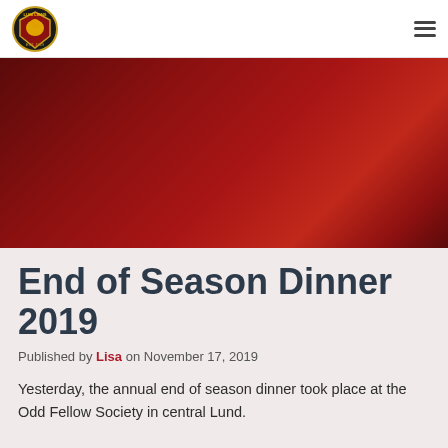Lugi Lions F.C.
[Figure (photo): Dark red gradient hero banner image]
End of Season Dinner 2019
Published by Lisa on November 17, 2019
Yesterday, the annual end of season dinner took place at the Odd Fellow Society in central Lund.